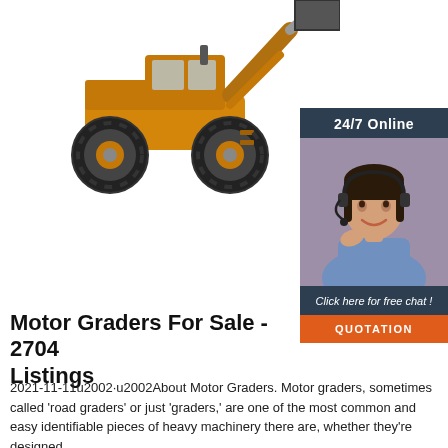[Figure (photo): Yellow wheel loader / front-end loader construction machine on white background]
[Figure (photo): 24/7 Online support widget with dark navy background showing a smiling customer support woman with headset, 'Click here for free chat!' text and orange QUOTATION button]
Motor Graders For Sale - 2704 Listings
2021-11-11u2002·u2002About Motor Graders. Motor graders, sometimes called 'road graders' or just 'graders,' are one of the most common and easy identifiable pieces of heavy machinery there are, whether they're designed